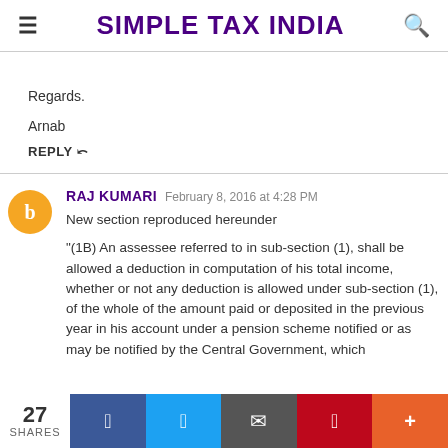SIMPLE TAX INDIA
Regards.
Arnab
REPLY
RAJ KUMARI February 8, 2016 at 4:28 PM
New section reproduced hereunder

"(1B) An assessee referred to in sub-section (1), shall be allowed a deduction in computation of his total income, whether or not any deduction is allowed under sub-section (1), of the whole of the amount paid or deposited in the previous year in his account under a pension scheme notified or as may be notified by the Central Government, which
27 SHARES